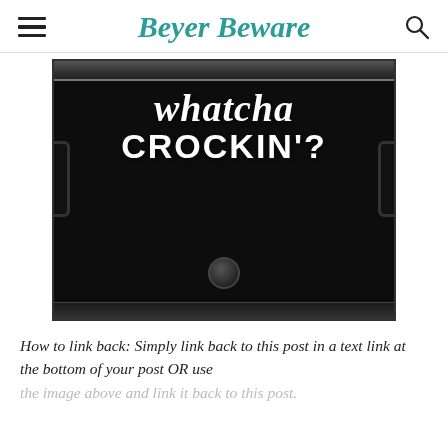Beyer Beware
[Figure (photo): A black slow cooker / crock pot with white hand-lettered text reading 'whatcha CROCKIN'?' on its front surface, photographed on a white background.]
How to link back: Simply link back to this post in a text link at the bottom of your post OR use the image above and link it back to this post.